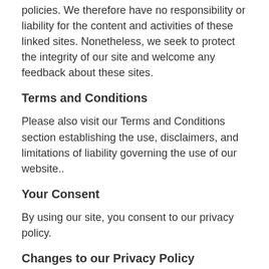policies. We therefore have no responsibility or liability for the content and activities of these linked sites. Nonetheless, we seek to protect the integrity of our site and welcome any feedback about these sites.
Terms and Conditions
Please also visit our Terms and Conditions section establishing the use, disclaimers, and limitations of liability governing the use of our website..
Your Consent
By using our site, you consent to our privacy policy.
Changes to our Privacy Policy
If we decide to change our privacy policy, we will post those changes on this page.